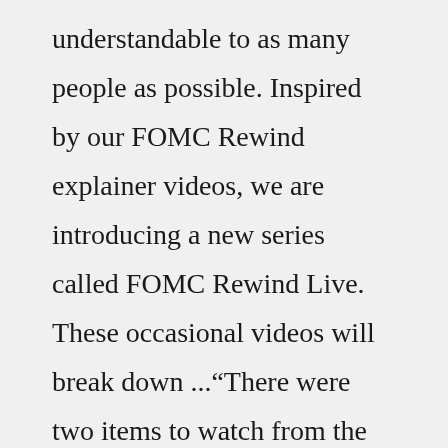understandable to as many people as possible. Inspired by our FOMC Rewind explainer videos, we are introducing a new series called FOMC Rewind Live. These occasional videos will break down ..."There were two items to watch from the FOMC following this month's two-day meeting. First, they announced a 50-basis-point increase in the federal funds target. This change had been telegraphed clearly in recent speeches. The statement also